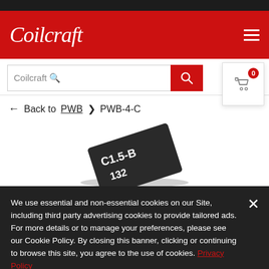Coilcraft
Coilcraft [search box]
← Back to PWB > PWB-4-C
[Figure (photo): Close-up photo of a small black surface-mount electronic component (inductor) with white text markings 'C1.5-B' and '132' on its surface, shown at an angle against a white background.]
We use essential and non-essential cookies on our Site, including third party advertising cookies to provide tailored ads. For more details or to manage your preferences, please see our Cookie Policy. By closing this banner, clicking or continuing to browse this site, you agree to the use of cookies. Privacy Policy